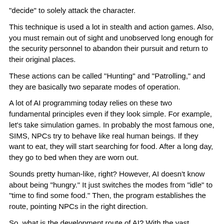“decide” to solely attack the character.
This technique is used a lot in stealth and action games. Also, you must remain out of sight and unobserved long enough for the security personnel to abandon their pursuit and return to their original places.
These actions can be called “Hunting” and “Patrolling,” and they are basically two separate modes of operation.
A lot of AI programming today relies on these two fundamental principles even if they look simple. For example, let’s take simulation games. In probably the most famous one, SIMS, NPCs try to behave like real human beings. If they want to eat, they will start searching for food. After a long day, they go to bed when they are worn out.
Sounds pretty human-like, right? However, AI doesn’t know about being “hungy.” It just switches the modes from “idle” to “time to find some food.” Then, the program establishes the route, pointing NPCs in the right direction.
So, what is the development route of AI? With the vast quantity of pathfinding and states that developers now have at their disposal, this has already undergone a significant transformation. After all, Mario and Red Dead Redemption are quite different games.
Today’s self-driving vehicle and face-recognition AI technologies, on the other hand, will permanently alter gaming’s AI landscape. Pathfinding may no longer be limited to directing an AI in the direction it should go.